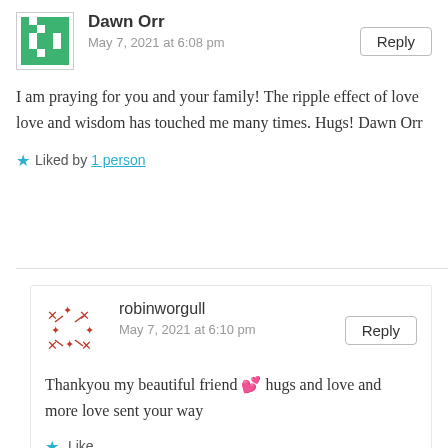Dawn Orr
May 7, 2021 at 6:08 pm
Reply
I am praying for you and your family! The ripple effect of love love and wisdom has touched me many times. Hugs! Dawn Orr
Liked by 1 person
robinworgull
May 7, 2021 at 6:10 pm
Reply
Thankyou my beautiful friend 💕 hugs and love and more love sent your way
Like